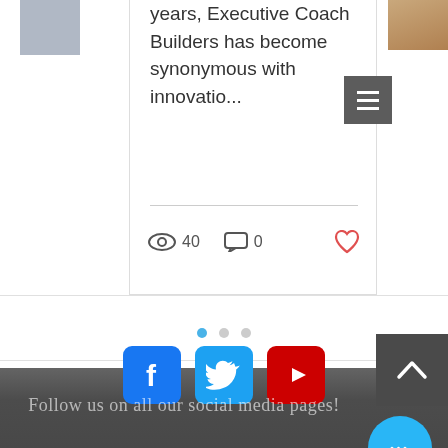years, Executive Coach Builders has become synonymous with innovatio...
[Figure (screenshot): Social media post card with view count 40, comment count 0, and a heart/like button]
[Figure (screenshot): Pagination dots: 3 dots with first dot active (blue)]
[Figure (screenshot): Footer section with Facebook, Twitter, and YouTube social media icons, back-to-top arrow button, and a blue more-options bubble]
Follow us on all our social media pages!